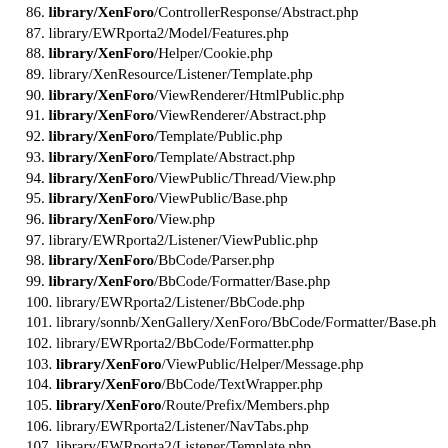86. library/XenForo/ControllerResponse/Abstract.php
87. library/EWRporta2/Model/Features.php
88. library/XenForo/Helper/Cookie.php
89. library/XenResource/Listener/Template.php
90. library/XenForo/ViewRenderer/HtmlPublic.php
91. library/XenForo/ViewRenderer/Abstract.php
92. library/XenForo/Template/Public.php
93. library/XenForo/Template/Abstract.php
94. library/XenForo/ViewPublic/Thread/View.php
95. library/XenForo/ViewPublic/Base.php
96. library/XenForo/View.php
97. library/EWRporta2/Listener/ViewPublic.php
98. library/XenForo/BbCode/Parser.php
99. library/XenForo/BbCode/Formatter/Base.php
100. library/EWRporta2/Listener/BbCode.php
101. library/sonnb/XenGallery/XenForo/BbCode/Formatter/Base.php
102. library/EWRporta2/BbCode/Formatter.php
103. library/XenForo/ViewPublic/Helper/Message.php
104. library/XenForo/BbCode/TextWrapper.php
105. library/XenForo/Route/Prefix/Members.php
106. library/EWRporta2/Listener/NavTabs.php
107. library/EWRporta2/Listener/Template.php
108. library/XenForo/Route/Prefix/Posts.php
109. library/XenForo/Model/Avatar.php
110. library/Waindigo/SmilieImporter/Listener/TemplatePostRende
111. library/XenForo/Debug.php